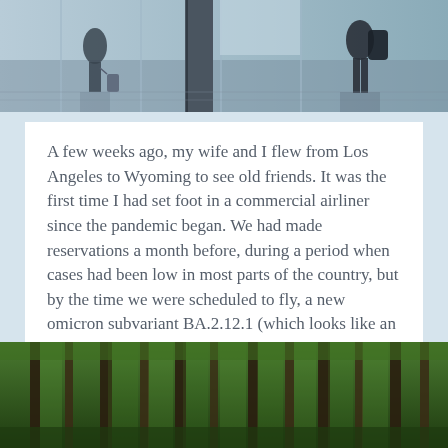[Figure (photo): Airport terminal scene with travelers pulling luggage, glass walls and escalators visible]
A few weeks ago, my wife and I flew from Los Angeles to Wyoming to see old friends. It was the first time I had set foot in a commercial airliner since the pandemic began. We had made reservations a month before, during a period when cases had been low in most parts of the country, but by the time we were scheduled to fly, a new omicron subvariant BA.2.12.1 (which looks like an IOS software update) appeared and cases were beginning to surge even in places with high vaccination numbers.
[Figure (photo): Dense forest with tall trees and green foliage]